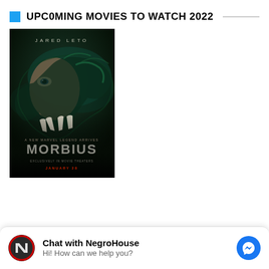UPCOMING MOVIES TO WATCH 2022
[Figure (photo): Morbius movie poster featuring Jared Leto. Dark green/teal tones showing a man's face merging with a bat-like creature with fangs. Text reads: JARED LETO, A NEW MARVEL LEGEND ARRIVES, MORBIUS, EXCLUSIVELY IN MOVIE THEATERS, JANUARY 28]
Chat with NegroHouse
Hi! How can we help you?